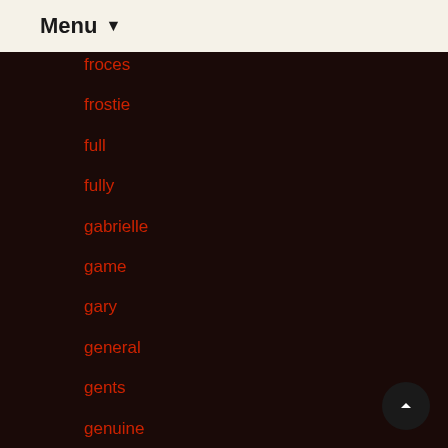Menu ▼
froces
frostie
full
fully
gabrielle
game
gary
general
gents
genuine
george
german
germany
getting